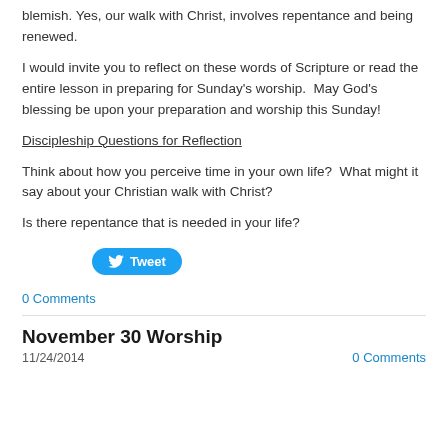blemish.  Yes, our walk with Christ, involves repentance and being renewed.
I would invite you to reflect on these words of Scripture or read the entire lesson in preparing for Sunday's worship.   May God's blessing be upon your preparation and worship this Sunday!
Discipleship Questions for Reflection
Think about how you perceive time in your own life?  What might it say about your Christian walk with Christ?
Is there repentance that is needed in your life?
Tweet
0 Comments
November 30 Worship
11/24/2014    0 Comments